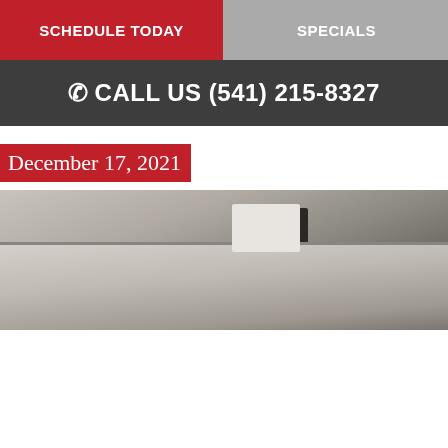SCHEDULE TODAY
SPECIALS
CALL US (541) 215-8327
December 17, 2021
[Figure (photo): Close-up photograph of a ceiling tile or surface with a dark HVAC vent/register visible, showing a light gray/beige textured surface from an angle]